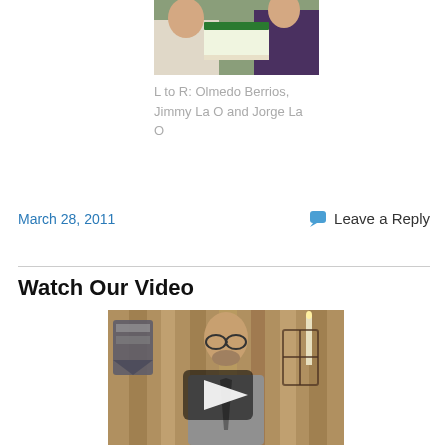[Figure (photo): Two people holding a cake, cropped at top]
L to R: Olmedo Berrios, Jimmy La O and Jorge La O
March 28, 2011
Leave a Reply
Watch Our Video
[Figure (screenshot): Video thumbnail showing a man in a suit with a play button overlay, standing in front of wood-paneled wall with a shield plaque and candlestick]